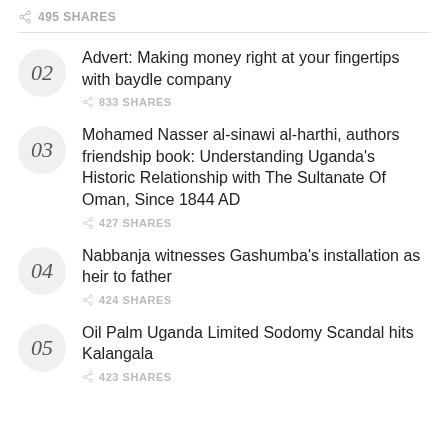495 SHARES
02 Advert: Making money right at your fingertips with baydle company — 833 SHARES
03 Mohamed Nasser al-sinawi al-harthi, authors friendship book: Understanding Uganda's Historic Relationship with The Sultanate Of Oman, Since 1844 AD — 427 SHARES
04 Nabbanja witnesses Gashumba's installation as heir to father — 424 SHARES
05 Oil Palm Uganda Limited Sodomy Scandal hits Kalangala — 423 SHARES